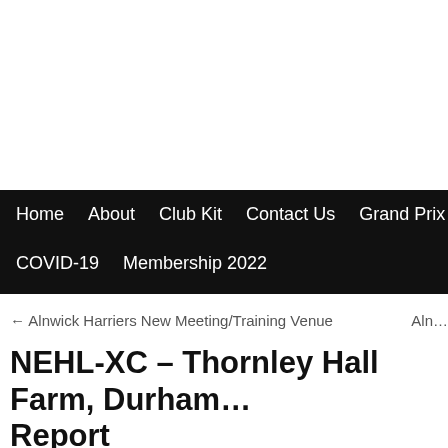Home | About | Club Kit | Contact Us | Grand Prix | Junior Harr… | COVID-19 | Membership 2022
← Alnwick Harriers New Meeting/Training Venue   Aln…
NEHL-XC – Thornley Hall Farm, Durham… Report
Posted on January 11, 2022 by Sue Skirrow
It was a fine day for the first cross country event of…